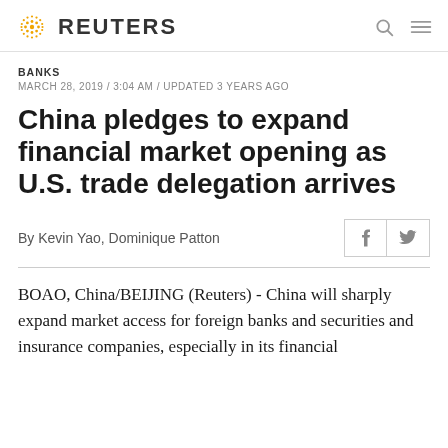REUTERS
BANKS
MARCH 28, 2019 / 3:04 AM / UPDATED 3 YEARS AGO
China pledges to expand financial market opening as U.S. trade delegation arrives
By Kevin Yao, Dominique Patton
BOAO, China/BEIJING (Reuters) - China will sharply expand market access for foreign banks and securities and insurance companies, especially in its financial